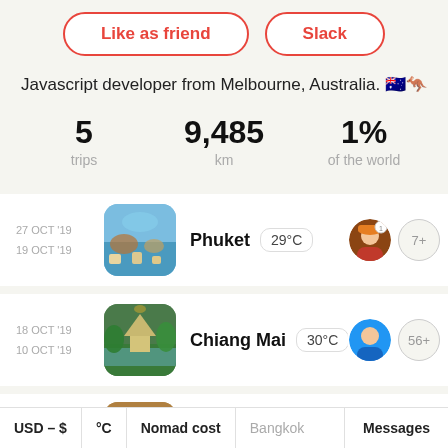Like as friend | Slack
Javascript developer from Melbourne, Australia. 🇦🇺🦘
5 trips   9,485 km   1% of the world
27 OCT '19 / 19 OCT '19 — Phuket 29°C
18 OCT '19 / 10 OCT '19 — Chiang Mai 30°C
9 OCT '19 — Bangkok
USD – $   °C   Nomad cost   Bangkok   Messages